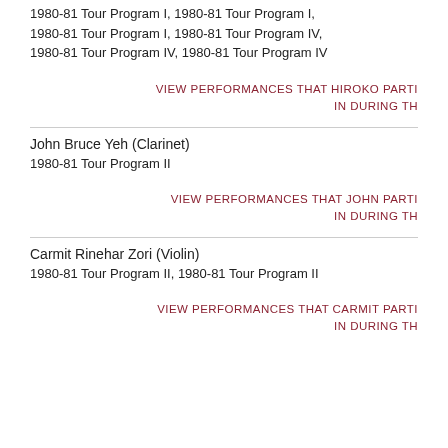1980-81 Tour Program I, 1980-81 Tour Program I, 1980-81 Tour Program I, 1980-81 Tour Program IV, 1980-81 Tour Program IV, 1980-81 Tour Program IV
VIEW PERFORMANCES THAT HIROKO PARTI IN DURING TH
John Bruce Yeh (Clarinet)
1980-81 Tour Program II
VIEW PERFORMANCES THAT JOHN PARTI IN DURING TH
Carmit Rinehar Zori (Violin)
1980-81 Tour Program II, 1980-81 Tour Program II
VIEW PERFORMANCES THAT CARMIT PARTI IN DURING TH